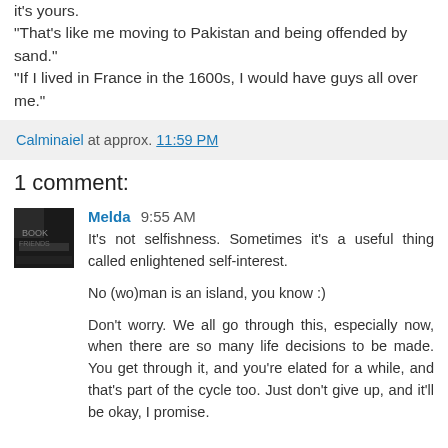it's yours.
"That's like me moving to Pakistan and being offended by sand."
"If I lived in France in the 1600s, I would have guys all over me."
Calminaiel at approx. 11:59 PM
1 comment:
Melda 9:55 AM
It's not selfishness. Sometimes it's a useful thing called enlightened self-interest.

No (wo)man is an island, you know :)

Don't worry. We all go through this, especially now, when there are so many life decisions to be made. You get through it, and you're elated for a while, and that's part of the cycle too. Just don't give up, and it'll be okay, I promise.